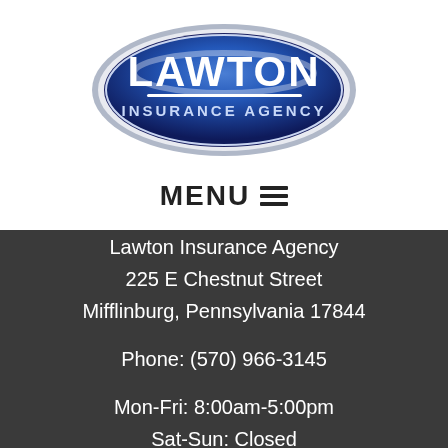[Figure (logo): Lawton Insurance Agency oval logo with blue gradient background, white text reading LAWTON in large letters and INSURANCE AGENCY below]
MENU ☰
Lawton Insurance Agency
225 E Chestnut Street
Mifflinburg, Pennsylvania 17844

Phone: (570) 966-3145

Mon-Fri: 8:00am-5:00pm
Sat-Sun: Closed